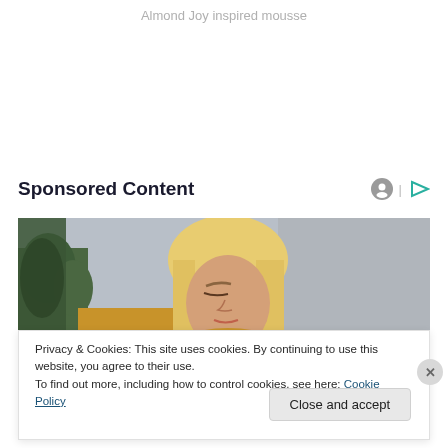Almond Joy inspired mousse
Sponsored Content
[Figure (photo): Advertisement photo of a blonde woman in a yellow sweater looking downward, with green plants and a grey wall in the background.]
Privacy & Cookies: This site uses cookies. By continuing to use this website, you agree to their use.
To find out more, including how to control cookies, see here: Cookie Policy
Close and accept